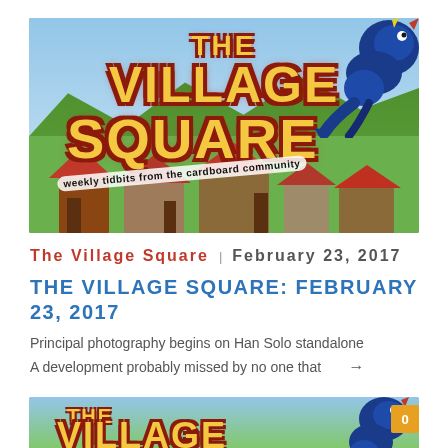[Figure (illustration): The Village Square banner image showing a cartoon blue dragon, village landscape with mountains and green hills, with large stylized text 'THE VILLAGE SQUARE' in yellow with red outline, and subtitle 'weekly tidbits from the cardboard community']
THE VILLAGE SQUARE | FEBRUARY 23, 2017
THE VILLAGE SQUARE: FEBRUARY 23, 2017
Principal photography begins on Han Solo standalone A development probably missed by no one that →
[Figure (illustration): Partial second instance of The Village Square banner, showing the cartoon blue dragon and the beginning of the 'THE VILLAGE' text, partially cut off at bottom of page. A gold/orange badge with '0' is visible in the top right corner.]